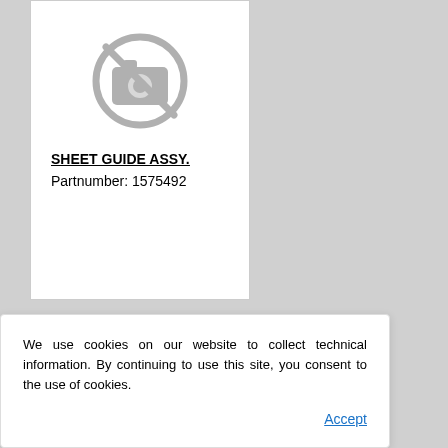[Figure (illustration): No image available placeholder icon — camera icon with a line through it inside a circle, in grey]
SHEET GUIDE ASSY.
Partnumber: 1575492
We use cookies on our website to collect technical information. By continuing to use this site, you consent to the use of cookies.
Accept